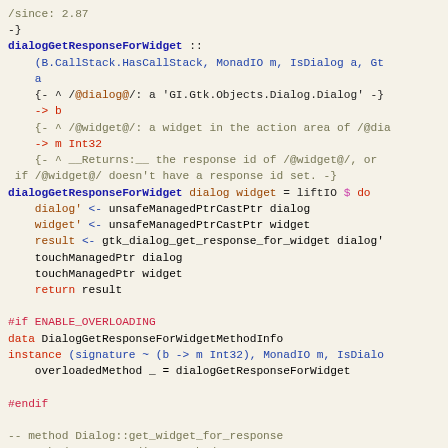Haskell source code snippet showing dialogGetResponseForWidget function definition and overloading instance
-- method Dialog::get_widget_for_response comments